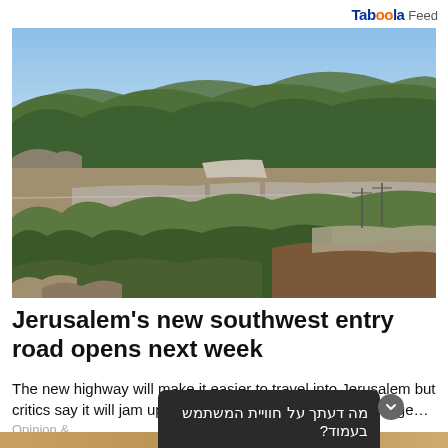Taboola Feed
[Figure (photo): Aerial landscape view of Jerusalem hills with highway, green forest-covered mountains, and a multi-lane road interchange visible in the valley]
Jerusalem's new southwest entry road opens next week
The new highway will make it easier to travel into Jerusalem but critics say it will jam up the city and make it mo...fficult to ge…
Opinion &
מה דעתך על חוויית המשתמש בעמוד?
תגובה